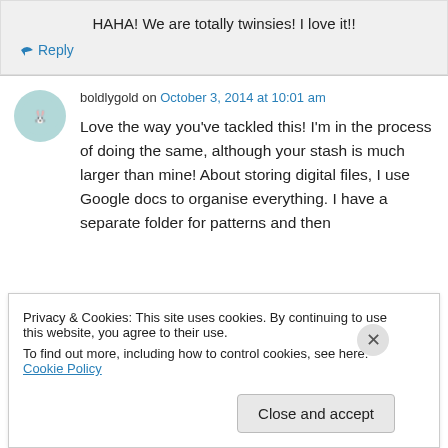HAHA! We are totally twinsies! I love it!!
↳ Reply
boldlygold on October 3, 2014 at 10:01 am
Love the way you've tackled this! I'm in the process of doing the same, although your stash is much larger than mine! About storing digital files, I use Google docs to organise everything. I have a separate folder for patterns and then
Privacy & Cookies: This site uses cookies. By continuing to use this website, you agree to their use.
To find out more, including how to control cookies, see here: Cookie Policy
Close and accept